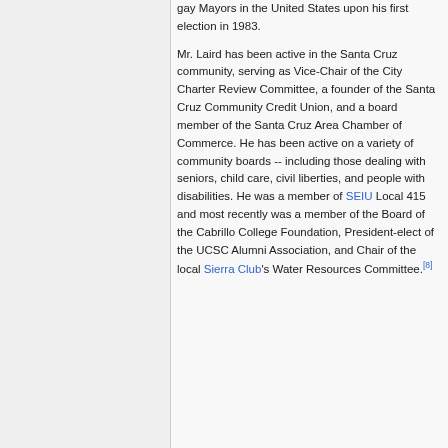gay Mayors in the United States upon his first election in 1983.

Mr. Laird has been active in the Santa Cruz community, serving as Vice-Chair of the City Charter Review Committee, a founder of the Santa Cruz Community Credit Union, and a board member of the Santa Cruz Area Chamber of Commerce. He has been active on a variety of community boards -- including those dealing with seniors, child care, civil liberties, and people with disabilities. He was a member of SEIU Local 415 and most recently was a member of the Board of the Cabrillo College Foundation, President-elect of the UCSC Alumni Association, and Chair of the local Sierra Club's Water Resources Committee.[8]